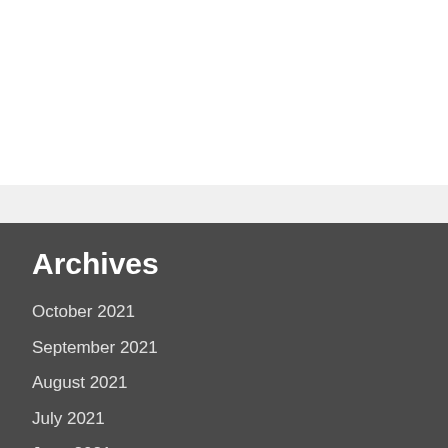Archives
October 2021
September 2021
August 2021
July 2021
June 2021
May 2021
April 2021